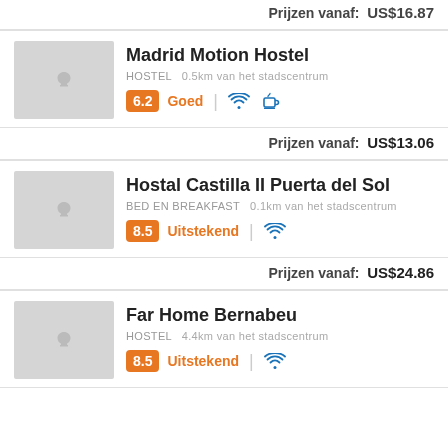Prijzen vanaf: US$16.87
Madrid Motion Hostel — HOSTEL 0.5km van het stadscentrum — Score: 6.2 Goed
Prijzen vanaf: US$13.06
Hostal Castilla II Puerta del Sol — BED EN BREAKFAST 0.1km van het stadscentrum — Score: 8.5 Uitstekend
Prijzen vanaf: US$24.86
Far Home Bernabeu — HOSTEL 4.4km van het stadscentrum — Score: 8.5 Uitstekend